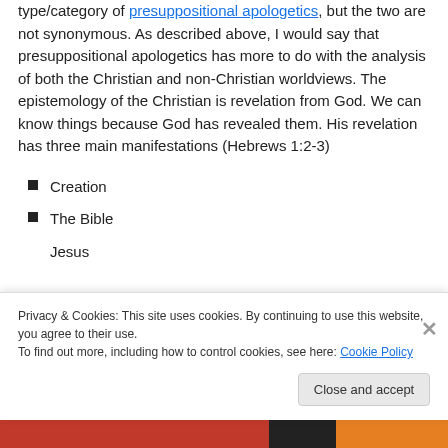type/category of presuppositional apologetics, but the two are not synonymous. As described above, I would say that presuppositional apologetics has more to do with the analysis of both the Christian and non-Christian worldviews. The epistemology of the Christian is revelation from God. We can know things because God has revealed them. His revelation has three main manifestations (Hebrews 1:2-3)
Creation
The Bible
Jesus
Privacy & Cookies: This site uses cookies. By continuing to use this website, you agree to their use.
To find out more, including how to control cookies, see here: Cookie Policy